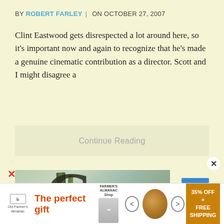BY ROBERT FARLEY  |  ON OCTOBER 27, 2007
Clint Eastwood gets disrespected a lot around here, so it's important now and again to recognize that he's made a genuine cinematic contribution as a director. Scott and I might disagree a
Continue Reading
[Figure (photo): Book or movie cover image showing large Gothic letters C and M with rifle/gun silhouette against a muted green background]
The perfect gift
35% OFF + FREE SHIPPING